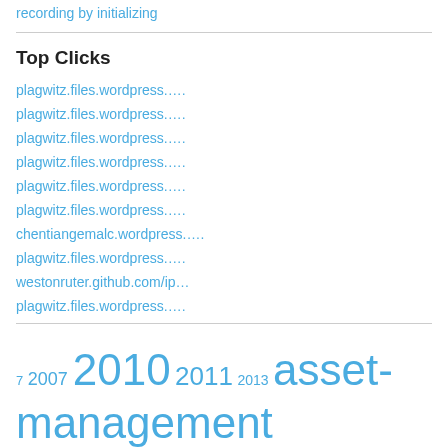recording by initializing
Top Clicks
plagwitz.files.wordpress.…
plagwitz.files.wordpress.…
plagwitz.files.wordpress.…
plagwitz.files.wordpress.…
plagwitz.files.wordpress.…
plagwitz.files.wordpress.…
chentiangemalc.wordpress.…
plagwitz.files.wordpress.…
westonruter.github.com/ip…
plagwitz.files.wordpress.…
7  2007  2010  2011  2013  asset-management